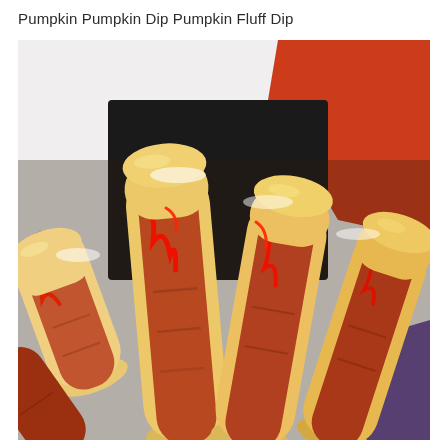Pumpkin Pumpkin Dip Pumpkin Fluff Dip
[Figure (photo): Halloween-themed hot dogs in buns styled to look like severed fingers with fingernails (made from cut hotdogs) with red ketchup/sauce drizzled on them, arranged in a black tray with orange and purple backgrounds visible.]